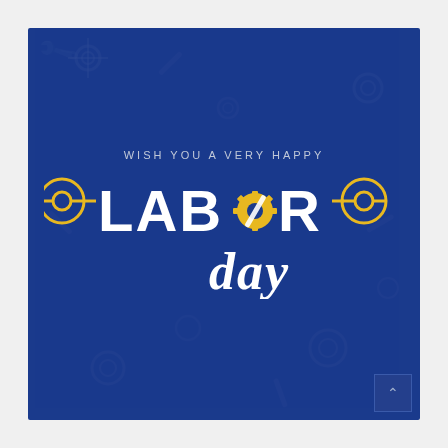[Figure (illustration): Labor Day greeting card with dark blue background featuring subtle tool pattern overlay. Central graphic shows 'WISH YOU A VERY HAPPY' in small caps, then large bold white text 'LABOR' with golden wrench icons replacing the letter O, flanked by golden circular wrench emblems on each side. Below in cursive italic white text reads 'day'. A scroll-up button appears in the bottom-right corner.]